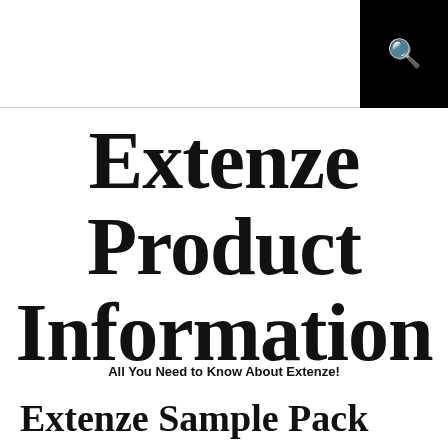Extenze Product Information
All You Need to Know About Extenze!
Extenze Sample Pack